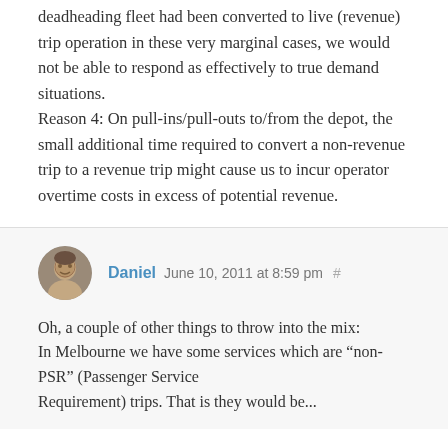deadheading fleet had been converted to live (revenue) trip operation in these very marginal cases, we would not be able to respond as effectively to true demand situations.
Reason 4: On pull-ins/pull-outs to/from the depot, the small additional time required to convert a non-revenue trip to a revenue trip might cause us to incur operator overtime costs in excess of potential revenue.
Daniel June 10, 2011 at 8:59 pm #
Oh, a couple of other things to throw into the mix: In Melbourne we have some services which are “non-PSR” (Passenger Service Requirement) trips. That is they would be...